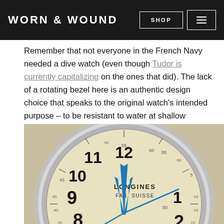WORN & WOUND | SHOP | [menu]
Remember that not everyone in the French Navy needed a dive watch (even though Tudor is currently capitalizing on the ones that did). The lack of a rotating bezel here is an authentic design choice that speaks to the original watch’s intended purpose – to be resistant to water at shallow depths, but not a tool for technical diving.
[Figure (photo): Close-up photo of a Longines FAB. SUISSE watch dial with cream/aged white background, bold Arabic numerals, blue hands (hour, minute, seconds), and a tachymetre chapter ring, surrounded by a polished silver case with brown leather strap visible.]